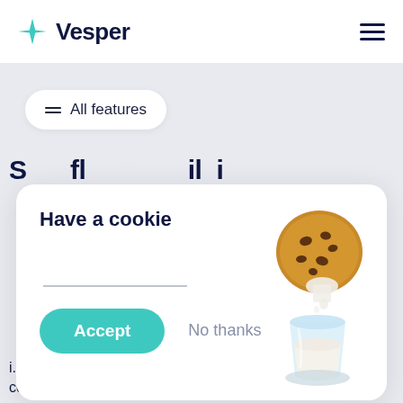Vesper
All features
S...fl...il...i...
Have a cookie
Accept
No thanks
[Figure (illustration): Cookie dipping into glass of milk illustration]
i.
coconut oil, palm kernel oil, palm oil, rapeseed oil and